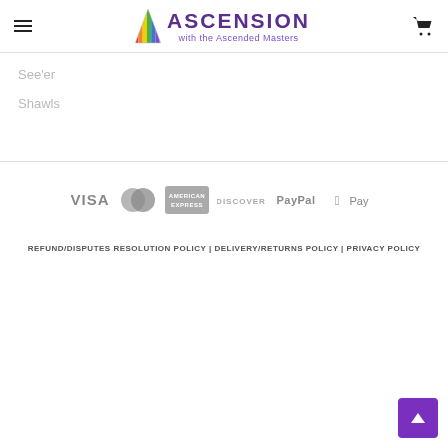Ascension with the Ascended Masters
See'er
Shawls
[Figure (logo): Payment method logos: VISA, MasterCard, American Express, Discover, PayPal, Apple Pay]
REFUND/DISPUTES RESOLUTION POLICY | DELIVERY/RETURNS POLICY | PRIVACY POLICY